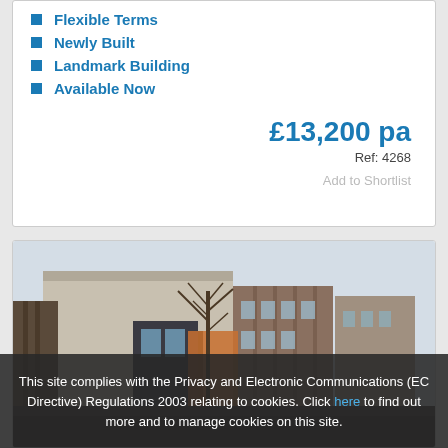Flexible Terms
Newly Built
Landmark Building
Available Now
£13,200 pa
Ref: 4268
Add to Shortlist
[Figure (photo): Exterior photo of a building under construction or renovation, showing brick and concrete structures with bare trees in background]
This site complies with the Privacy and Electronic Communications (EC Directive) Regulations 2003 relating to cookies. Click here to find out more and to manage cookies on this site.